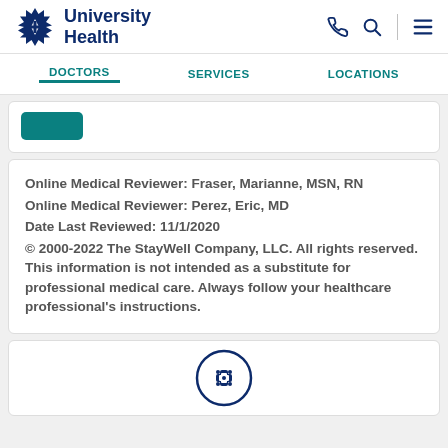[Figure (logo): University Health logo with star/cross emblem and bold navy text]
DOCTORS   SERVICES   LOCATIONS
Online Medical Reviewer: Fraser, Marianne, MSN, RN
Online Medical Reviewer: Perez, Eric, MD
Date Last Reviewed: 11/1/2020
© 2000-2022 The StayWell Company, LLC. All rights reserved. This information is not intended as a substitute for professional medical care. Always follow your healthcare professional's instructions.
[Figure (logo): University Health circular icon/emblem at bottom of page]